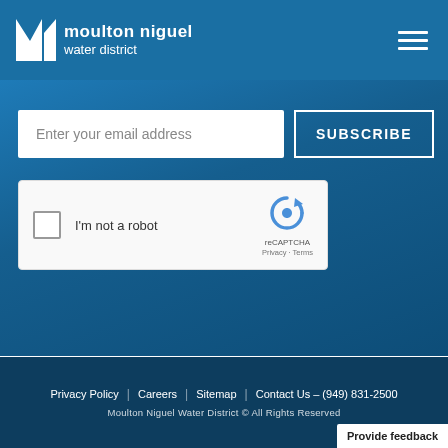[Figure (logo): Moulton Niguel Water District logo with stylized M icon in white and text]
Enter your email address
SUBSCRIBE
[Figure (other): reCAPTCHA widget with checkbox, I'm not a robot text, and reCAPTCHA logo with Privacy and Terms links]
Privacy Policy | Careers | Sitemap | Contact Us – (949) 831-2500
Moulton Niguel Water District © All Rights Reserved
Provide feedback